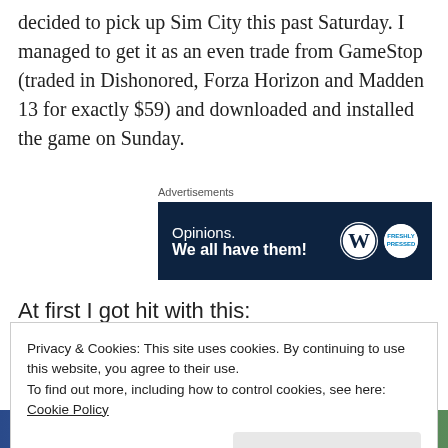decided to pick up Sim City this past Saturday. I managed to get it as an even trade from GameStop (traded in Dishonored, Forza Horizon and Madden 13 for exactly $59) and downloaded and installed the game on Sunday.
[Figure (other): WordPress advertisement banner with dark navy background. Text reads 'Opinions. We all have them!' with WordPress W logo and Freshly Pressed circular logo on the right. Labeled 'Advertisements' above.]
At first I got hit with this:
Privacy & Cookies: This site uses cookies. By continuing to use this website, you agree to their use.
To find out more, including how to control cookies, see here: Cookie Policy
[Figure (photo): Partial bottom strip showing a screenshot image, partially cut off at the bottom of the page.]